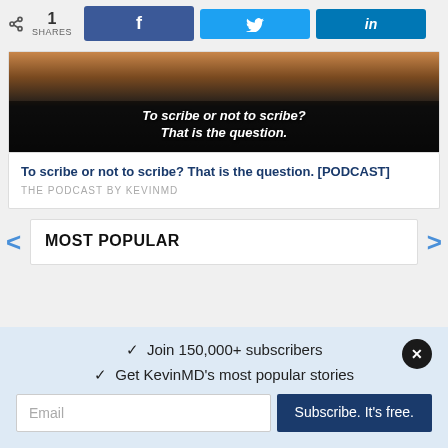< 1 SHARES | f | y | in
[Figure (screenshot): Podcast thumbnail image with text overlay: 'To scribe or not to scribe? That is the question.']
To scribe or not to scribe? That is the question. [PODCAST]
THE PODCAST BY KEVINMD
MOST POPULAR
✓ Join 150,000+ subscribers
✓ Get KevinMD's most popular stories
Email  Subscribe. It's free.